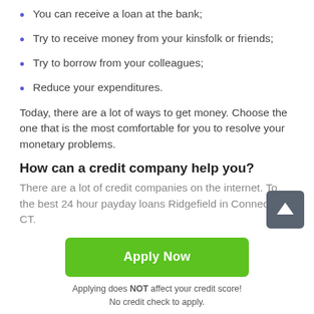You can receive a loan at the bank;
Try to receive money from your kinsfolk or friends;
Try to borrow from your colleagues;
Reduce your expenditures.
Today, there are a lot of ways to get money. Choose the one that is the most comfortable for you to resolve your monetary problems.
How can a credit company help you?
There are a lot of credit companies on the internet. To the best 24 hour payday loans Ridgefield in Connecticut CT.
Apply Now
Applying does NOT affect your credit score!
No credit check to apply.